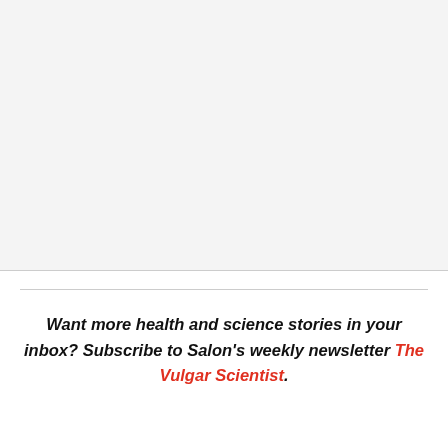Want more health and science stories in your inbox? Subscribe to Salon's weekly newsletter The Vulgar Scientist.